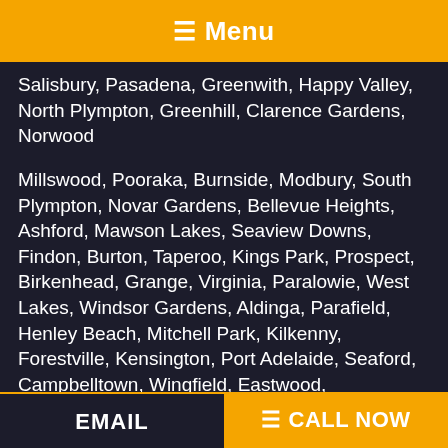☰ Menu
Salisbury, Pasadena, Greenwith, Happy Valley, North Plympton, Greenhill, Clarence Gardens, Norwood
Millswood, Pooraka, Burnside, Modbury, South Plympton, Novar Gardens, Bellevue Heights, Ashford, Mawson Lakes, Seaview Downs, Findon, Burton, Taperoo, Kings Park, Prospect, Birkenhead, Grange, Virginia, Paralowie, West Lakes, Windsor Gardens, Aldinga, Parafield, Henley Beach, Mitchell Park, Kilkenny, Forestville, Kensington, Port Adelaide, Seaford, Campbelltown, Wingfield, Eastwood, Glenosmond, Malvern, Richmond, Albert Park, Springfield, Cheltenham, Fitzroy, Hawthorn, North Adelaide, Aldinga Beach, St
EMAIL   ☰ CALL NOW